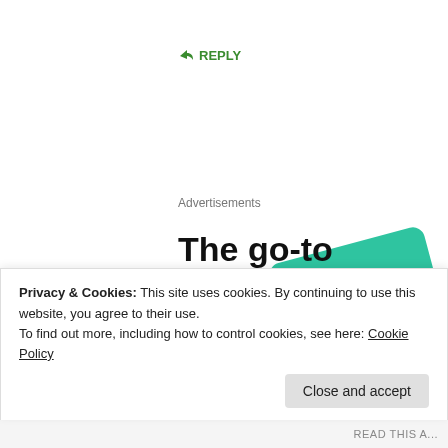↳ REPLY
Advertisements
[Figure (illustration): Advertisement for a podcast app showing podcast cover art cards including '99% Invisible' on a black grid card, a green card, and a blue card, with bold headline 'The go-to app for podcast lovers.' and red CTA 'Download now']
Privacy & Cookies: This site uses cookies. By continuing to use this website, you agree to their use.
To find out more, including how to control cookies, see here: Cookie Policy
Close and accept